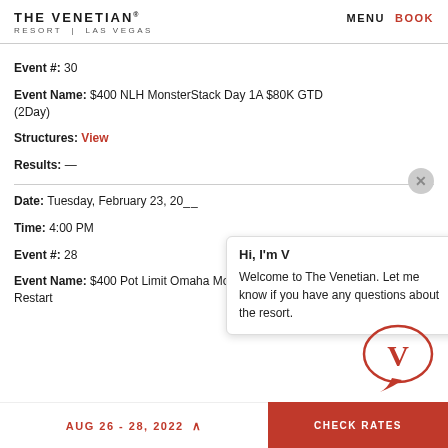THE VENETIAN® RESORT | LAS VEGAS   MENU  BOOK
Event #: 30
Event Name: $400 NLH MonsterStack Day 1A $80K GTD (2Day)
Structures: View
Results: —
Date: Tuesday, February 23, 20__
Time: 4:00 PM
Event #: 28
Event Name: $400 Pot Limit Omaha MonsterStack Day 2 Restart
Hi, I'm V
Welcome to The Venetian. Let me know if you have any questions about the resort.
AUG 26 - 28, 2022   CHECK RATES